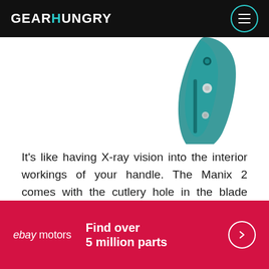GEARHUNGRY
[Figure (photo): Partial view of a teal/dark green Spyderco Manix 2 folding knife handle against a white background, showing the clip and cutlery hole area.]
It's like having X-ray vision into the interior workings of your handle. The Manix 2 comes with the cutlery hole in the blade where it meets the clip, sporting the Spyderco logo right beside it. The best locks for any knife handle are ball bearings, and this has ultra smooth-moving operators. Flicking in and out of the hilt is a flick of the wrist, aided by the weight distribution from all three ounces of high-grade co-
[Figure (infographic): eBay Motors advertisement banner in red/crimson background. Text reads 'ebay motors' on the left and 'Find over 5 million parts' on the right with a circular arrow button.]